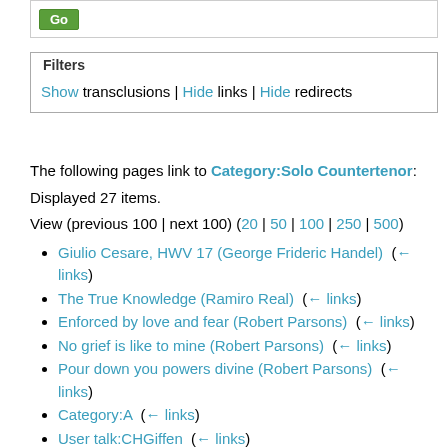[Figure (other): Go button (green) inside a bordered box at the top of the page]
Filters
Show transclusions | Hide links | Hide redirects
The following pages link to Category:Solo Countertenor:
Displayed 27 items.
View (previous 100 | next 100) (20 | 50 | 100 | 250 | 500)
Giulio Cesare, HWV 17 (George Frideric Handel)  (← links)
The True Knowledge (Ramiro Real)  (← links)
Enforced by love and fear (Robert Parsons)  (← links)
No grief is like to mine (Robert Parsons)  (← links)
Pour down you powers divine (Robert Parsons)  (← links)
Category:A  (← links)
User talk:CHGiffen  (← links)